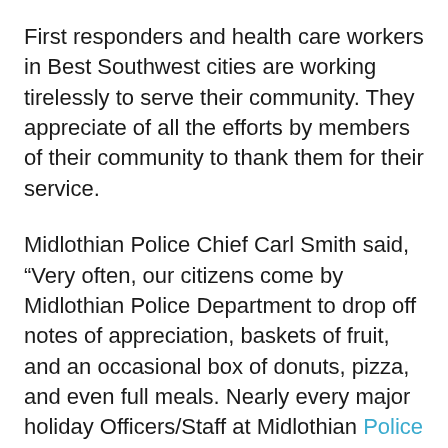First responders and health care workers in Best Southwest cities are working tirelessly to serve their community. They appreciate of all the efforts by members of their community to thank them for their service.
Midlothian Police Chief Carl Smith said, “Very often, our citizens come by Midlothian Police Department to drop off notes of appreciation, baskets of fruit, and an occasional box of donuts, pizza, and even full meals. Nearly every major holiday Officers/Staff at Midlothian Police Department can count on our citizens and many of our local businesses/restaurants to provide snacks, meals and cards. Since the COVID-19 Virus has threatened the country, we have seen even more incredible support from our citizens, local retailers, and